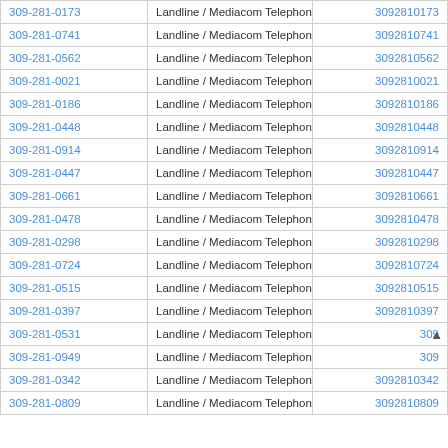| Phone | Type / Carrier | Lookup |
| --- | --- | --- |
| 309-281-0173 | Landline / Mediacom Telephony Of Illinois | 3092810173 |
| 309-281-0741 | Landline / Mediacom Telephony Of Illinois | 3092810741 |
| 309-281-0562 | Landline / Mediacom Telephony Of Illinois | 3092810562 |
| 309-281-0021 | Landline / Mediacom Telephony Of Illinois | 3092810021 |
| 309-281-0186 | Landline / Mediacom Telephony Of Illinois | 3092810186 |
| 309-281-0448 | Landline / Mediacom Telephony Of Illinois | 3092810448 |
| 309-281-0914 | Landline / Mediacom Telephony Of Illinois | 3092810914 |
| 309-281-0447 | Landline / Mediacom Telephony Of Illinois | 3092810447 |
| 309-281-0661 | Landline / Mediacom Telephony Of Illinois | 3092810661 |
| 309-281-0478 | Landline / Mediacom Telephony Of Illinois | 3092810478 |
| 309-281-0298 | Landline / Mediacom Telephony Of Illinois | 3092810298 |
| 309-281-0724 | Landline / Mediacom Telephony Of Illinois | 3092810724 |
| 309-281-0515 | Landline / Mediacom Telephony Of Illinois | 3092810515 |
| 309-281-0397 | Landline / Mediacom Telephony Of Illinois | 3092810397 |
| 309-281-0531 | Landline / Mediacom Telephony Of Illinois | 309… |
| 309-281-0949 | Landline / Mediacom Telephony Of Illinois | 309… |
| 309-281-0342 | Landline / Mediacom Telephony Of Illinois | 3092810342 |
| 309-281-0809 | Landline / Mediacom Telephony Of Illinois | 3092810809 |